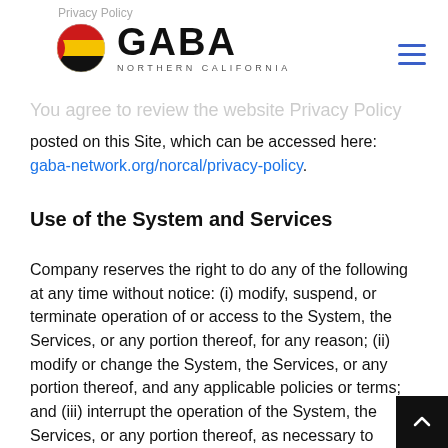Privacy Policy
[Figure (logo): GABA Northern California logo with circular flag icon and hamburger menu icon]
You agree to review the website Privacy Policy posted on this Site, which can be accessed here: gaba-network.org/norcal/privacy-policy.
Use of the System and Services
Company reserves the right to do any of the following at any time without notice: (i) modify, suspend, or terminate operation of or access to the System, the Services, or any portion thereof, for any reason; (ii) modify or change the System, the Services, or any portion thereof, and any applicable policies or terms; and (iii) interrupt the operation of the System, the Services, or any portion thereof, as necessary to perform routine non-routine maintenance, perform error correction, or make other changes.